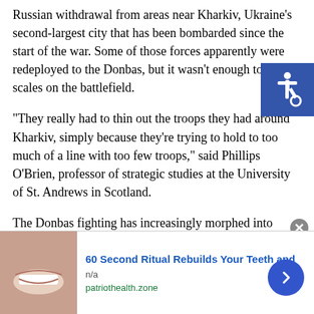Russian withdrawal from areas near Kharkiv, Ukraine's second-largest city that has been bombarded since the start of the war. Some of those forces apparently were redeployed to the Donbas, but it wasn't enough to tip the scales on the battlefield.
[Figure (other): Blue accessibility icon (wheelchair symbol) in a blue square, positioned top-right]
“They really had to thin out the troops they had around Kharkiv, simply because they’re trying to hold to too much of a line with too few troops,” said Phillips O’Brien, professor of strategic studies at the University of St. Andrews in Scotland.
The Donbas fighting has increasingly morphed into artillery duels, and “it might go on for quite a long time without much movement in the lines,” he said.
“So it will be a more of a positional battle at that point, O’Brien added, with success going to whoever “can take the
[Figure (other): Advertisement banner at bottom: image of teeth/smile, text '60 Second Ritual Rebuilds Your Teeth and', 'n/a', 'patriothealth.zone', close button X, blue arrow button]